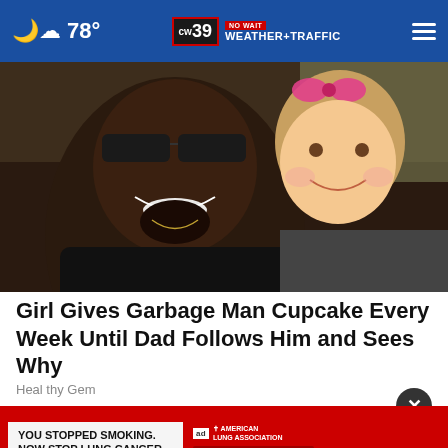78° CW39 NO WAIT WEATHER+TRAFFIC
[Figure (photo): A smiling Black man wearing sunglasses and a black jacket poses cheek-to-cheek with a small smiling white girl wearing a pink bow in her hair. Outdoor background, warm tones.]
Girl Gives Garbage Man Cupcake Every Week Until Dad Follows Him and Sees Why
Healthy Gem
[Figure (screenshot): Advertisement banner: red background. Left side has white box with text 'YOU STOPPED SMOKING. NOW STOP LUNG CANCER.' Right side shows 'ad' badge, American Lung Association logo, and a dark red button reading 'Get SAVEDBYLUNG.ORG']